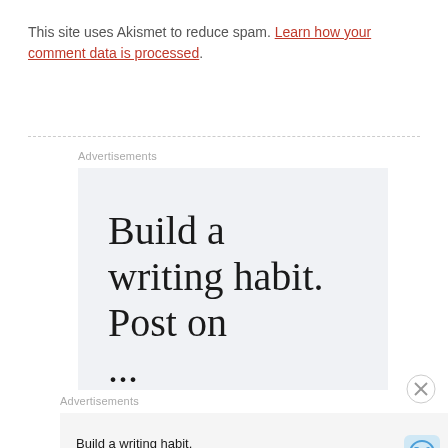This site uses Akismet to reduce spam. Learn how your comment data is processed.
Advertisements
[Figure (screenshot): Large advertisement with text 'Build a writing habit. Post on...' on a light gray background, partially visible, cut off at bottom]
Advertisements
[Figure (screenshot): Bottom advertisement bar: 'Build a writing habit. Post on the go.' with 'GET THE APP' button and WordPress logo]